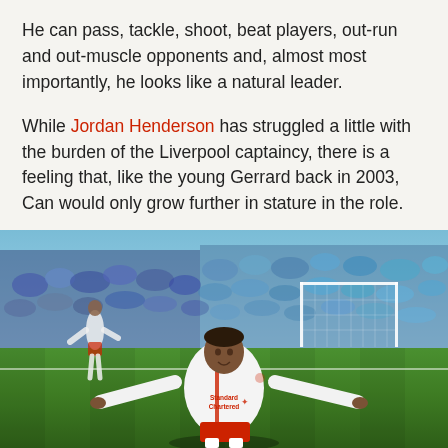He can pass, tackle, shoot, beat players, out-run and out-muscle opponents and, almost most importantly, he looks like a natural leader.
While Jordan Henderson has struggled a little with the burden of the Liverpool captaincy, there is a feeling that, like the young Gerrard back in 2003, Can would only grow further in stature in the role.
[Figure (photo): A Liverpool FC player in white kit with Standard Chartered sponsor, arms spread wide in celebration on a football pitch, with a stadium crowd and goalpost visible in the background.]